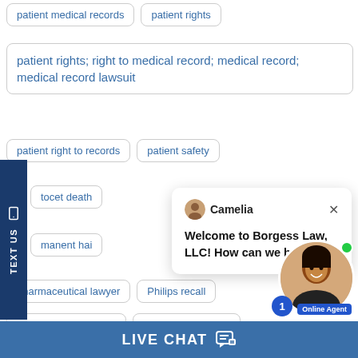patient medical records
patient rights
patient rights; right to medical record; medical record; medical record lawsuit
patient right to records
patient safety
tocet death
manent hai
pharmaceutical lawyer
Philips recall
Philips recall attorney
Philips recall lawye
phone burn
phone burn attorney
[Figure (screenshot): Chat popup from Camelia at Borgess Law LLC saying 'Welcome to Borgess Law, LLC! How can we help you?' with online agent photo]
LIVE CHAT